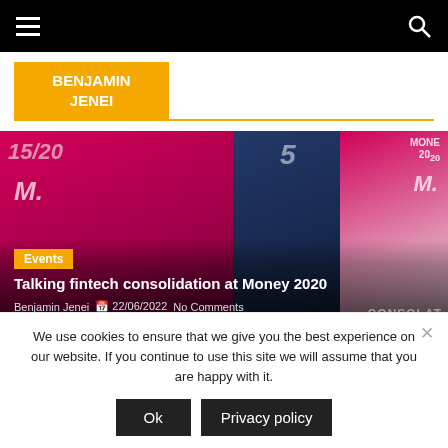Navigation bar with hamburger menu and search icon
BENJAMIN JENEI
[Figure (photo): Money 2020 event banners/flags in pink, black, and blue colors with 'MONEY 20/20' text visible, overlaid with article title, Events tag, author name, date and comments]
Events
Talking fintech consolidation at Money 2020
Benjamin Jenei  22/06/2022  No Comments
[Figure (photo): Green foliage with Disruption Banking logo/text overlay on dark background]
We use cookies to ensure that we give you the best experience on our website. If you continue to use this site we will assume that you are happy with it.
Ok  Privacy policy